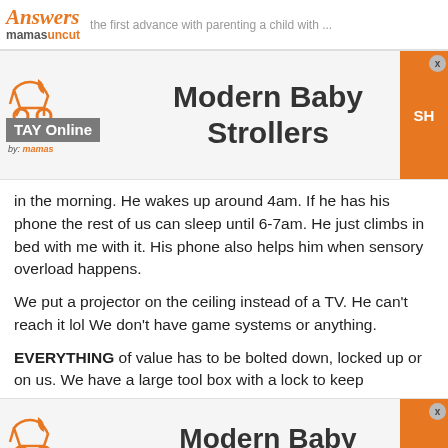Answers mamas uncut
[Figure (advertisement): TAY Online by mamas ad banner for Modern Baby Strollers with orange SHOP button]
in the morning. He wakes up around 4am. If he has his phone the rest of us can sleep until 6-7am. He just climbs in bed with me with it. His phone also helps him when sensory overload happens.
We put a projector on the ceiling instead of a TV. He can't reach it lol We don't have game systems or anything.
EVERYTHING of value has to be bolted down, locked up or on us. We have a large tool box with a lock to keep
[Figure (advertisement): TAY Online by mamas ad banner for Modern Baby Strollers with orange SHOP button]